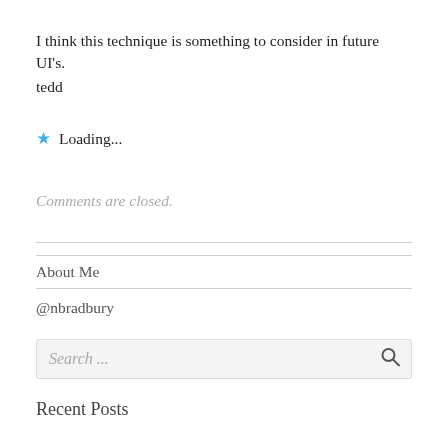I think this technique is something to consider in future UI's.
tedd
Loading...
Comments are closed.
About Me
@nbradbury
Search ...
Recent Posts